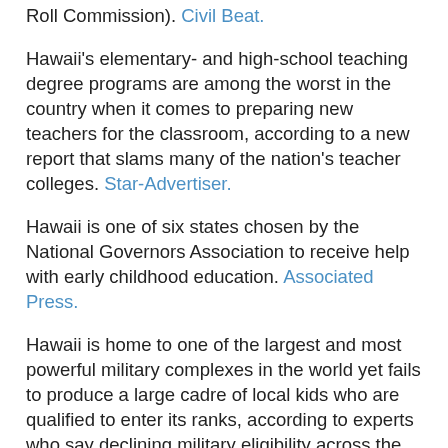Roll Commission). Civil Beat.
Hawaii's elementary- and high-school teaching degree programs are among the worst in the country when it comes to preparing new teachers for the classroom, according to a new report that slams many of the nation's teacher colleges. Star-Advertiser.
Hawaii is one of six states chosen by the National Governors Association to receive help with early childhood education. Associated Press.
Hawaii is home to one of the largest and most powerful military complexes in the world yet fails to produce a large cadre of local kids who are qualified to enter its ranks, according to experts who say declining military eligibility across the country is posing a threat to national security. Civil Beat.
Oahu
Community feedback on the size and scope of Honolulu's